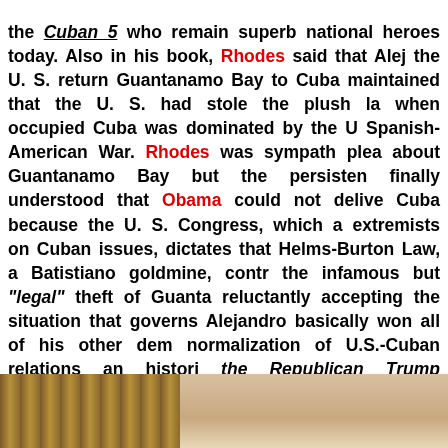the Cuban 5 who remain superb national heroes today. Also in his book, Rhodes said that Alejandro [asked] the U. S. return Guantanamo Bay to Cuba [and] maintained that the U. S. had stole the plush land when occupied Cuba was dominated by the U.S. after the Spanish-American War. Rhodes was sympathetic to the plea about Guantanamo Bay but the persistent Cuban finally understood that Obama could not deliver that to Cuba because the U. S. Congress, which allows extremists on Cuban issues, dictates that the infamous Helms-Burton Law, a Batistiano goldmine, controls the infamous but "legal" theft of Guantanamo, reluctantly accepting the situation that governs today. Alejandro basically won all of his other demands, the normalization of U.S.-Cuban relations an historic achievement, the Republican Trump replaced the Democrat Obama as President of the United States in January of 2017.
[Figure (photo): Partial photograph showing a person against a curtained background, cropped at bottom of page]